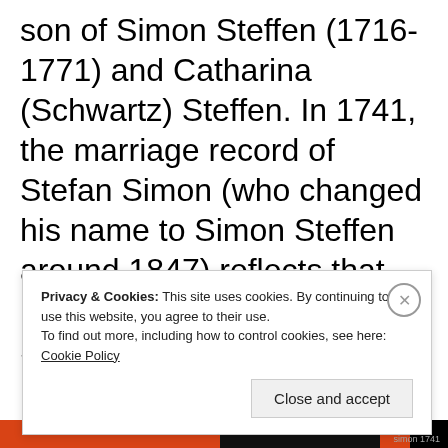son of Simon Steffen (1716-1771) and Catharina (Schwartz) Steffen. In 1741, the marriage record of Stefan Simon (who changed his name to Simon Steffen around 1847) reflects that he married Catharina Schwartz, and that her parents were Franz Schwartz and
Privacy & Cookies: This site uses cookies. By continuing to use this website, you agree to their use.
To find out more, including how to control cookies, see here: Cookie Policy
Close and accept